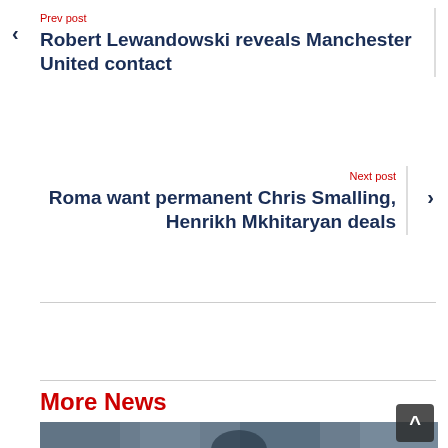Prev post
Robert Lewandowski reveals Manchester United contact
Next post
Roma want permanent Chris Smalling, Henrikh Mkhitaryan deals
More News
[Figure (photo): A football player in a blue and red striped jersey, crowd in the background]